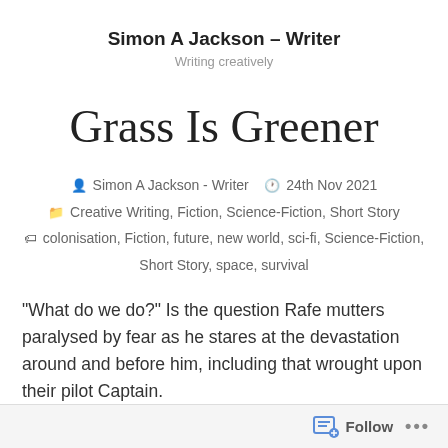Simon A Jackson – Writer
Writing creatively
Grass Is Greener
Simon A Jackson - Writer   24th Nov 2021
Creative Writing, Fiction, Science-Fiction, Short Story
colonisation, Fiction, future, new world, sci-fi, Science-Fiction, Short Story, space, survival
“What do we do?” Is the question Rafe mutters paralysed by fear as he stares at the devastation around and before him, including that wrought upon their pilot Captain.
Follow ...